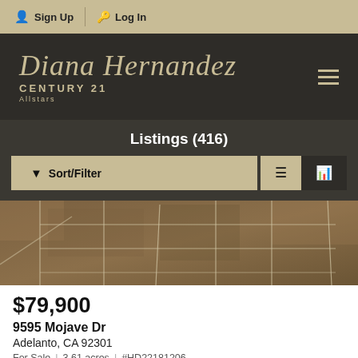Sign Up | Log In
[Figure (logo): Diana Hernandez Century 21 Allstars logo on dark background]
Listings (416)
[Figure (photo): Aerial satellite view of desert land parcels with grid lines]
$79,900
9595 Mojave Dr
Adelanto, CA 92301
For Sale | 3.61 acres | #HD22181206
Berkshire Hathaway HomeService